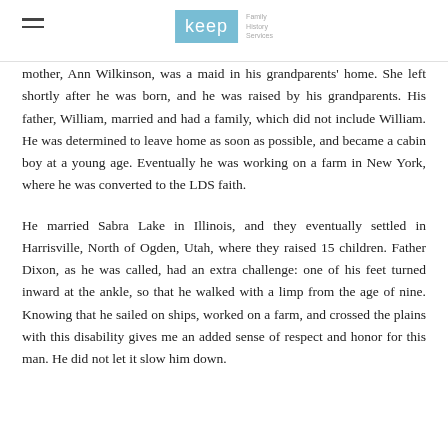keep — Family History Services
mother, Ann Wilkinson, was a maid in his grandparents' home. She left shortly after he was born, and he was raised by his grandparents. His father, William, married and had a family, which did not include William. He was determined to leave home as soon as possible, and became a cabin boy at a young age. Eventually he was working on a farm in New York, where he was converted to the LDS faith.
He married Sabra Lake in Illinois, and they eventually settled in Harrisville, North of Ogden, Utah, where they raised 15 children. Father Dixon, as he was called, had an extra challenge: one of his feet turned inward at the ankle, so that he walked with a limp from the age of nine. Knowing that he sailed on ships, worked on a farm, and crossed the plains with this disability gives me an added sense of respect and honor for this man. He did not let it slow him down.